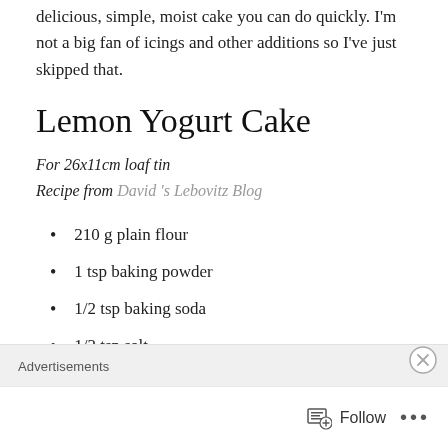delicious, simple, moist cake you can do quickly. I'm not a big fan of icings and other additions so I've just skipped that.
Lemon Yogurt Cake
For 26x11cm loaf tin
Recipe from David 's Lebovitz Blog
210 g plain flour
1 tsp baking powder
1/2 tsp baking soda
1/2 tsp salt
Advertisements